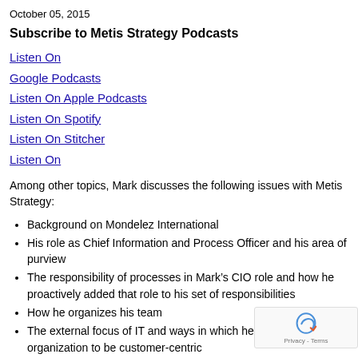October 05, 2015
Subscribe to Metis Strategy Podcasts
Listen On
Google Podcasts
Listen On Apple Podcasts
Listen On Spotify
Listen On Stitcher
Listen On
Among other topics, Mark discusses the following issues with Metis Strategy:
Background on Mondelez International
His role as Chief Information and Process Officer and his area of purview
The responsibility of processes in Mark’s CIO role and how he proactively added that role to his set of responsibilities
How he organizes his team
The external focus of IT and ways in which he has tuned his organization to be customer-centric
His views on Chief Digital Officers and how digital responsibility should be leveraged within an organization
The focus on innovation and how he ensures the innovation